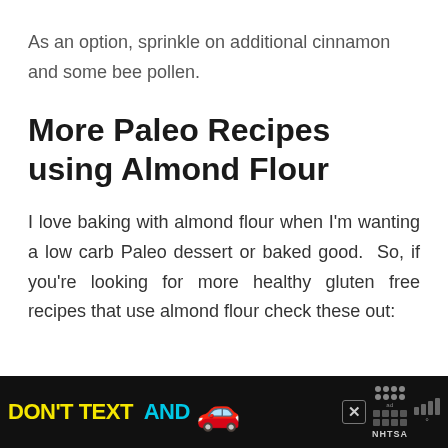As an option, sprinkle on additional cinnamon and some bee pollen.
More Paleo Recipes using Almond Flour
I love baking with almond flour when I'm wanting a low carb Paleo dessert or baked good.  So, if you're looking for more healthy gluten free recipes that use almond flour check these out:
[Figure (screenshot): Advertisement banner: black background with 'DON'T TEXT AND' in yellow and cyan bold text, red car emoji, ad choices icon, NHTSA logo, close button, and weather widget]